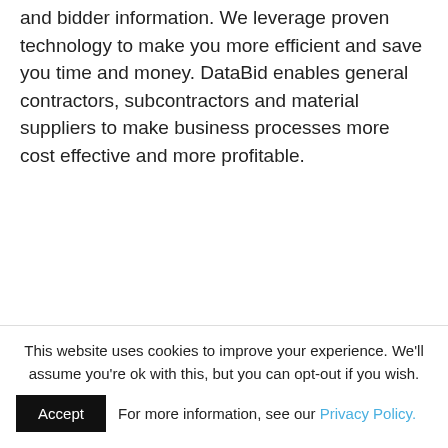and bidder information. We leverage proven technology to make you more efficient and save you time and money. DataBid enables general contractors, subcontractors and material suppliers to make business processes more cost effective and more profitable.
This website uses cookies to improve your experience. We'll assume you're ok with this, but you can opt-out if you wish.
For more information, see our Privacy Policy.